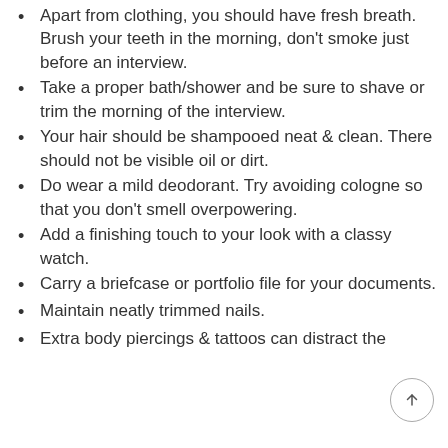Apart from clothing, you should have fresh breath. Brush your teeth in the morning, don't smoke just before an interview.
Take a proper bath/shower and be sure to shave or trim the morning of the interview.
Your hair should be shampooed neat & clean. There should not be visible oil or dirt.
Do wear a mild deodorant. Try avoiding cologne so that you don't smell overpowering.
Add a finishing touch to your look with a classy watch.
Carry a briefcase or portfolio file for your documents.
Maintain neatly trimmed nails.
Extra body piercings & tattoos can distract the